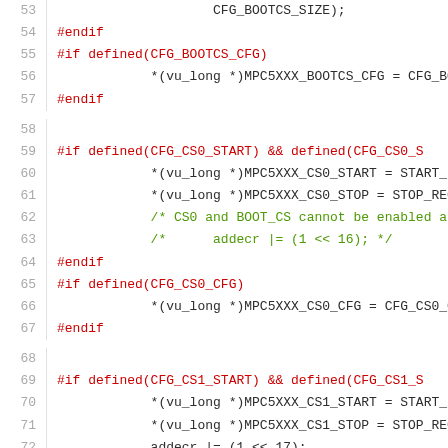[Figure (screenshot): Source code listing lines 53-74 showing C preprocessor directives for MPC5XXX chip select configuration, with line numbers in gray, preprocessor directives in red, code in dark gray, and comments in green.]